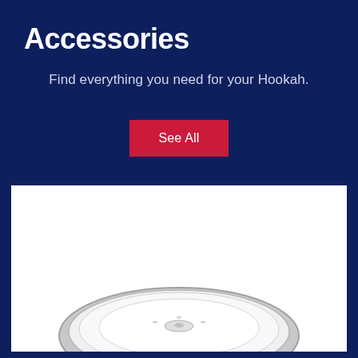Accessories
Find everything you need for your Hookah.
See All
[Figure (photo): Top-down view of a circular hookah bowl or base accessory, silver/chrome colored with metallic rim, white background, partially cropped at bottom of image.]